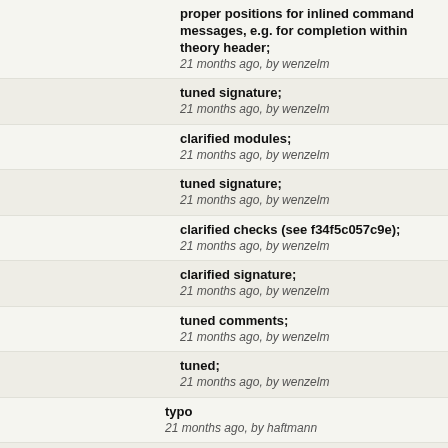proper positions for inlined command messages, e.g. for completion within theory header;
21 months ago, by wenzelm
tuned signature;
21 months ago, by wenzelm
clarified modules;
21 months ago, by wenzelm
tuned signature;
21 months ago, by wenzelm
clarified checks (see f34f5c057c9e);
21 months ago, by wenzelm
clarified signature;
21 months ago, by wenzelm
tuned comments;
21 months ago, by wenzelm
tuned;
21 months ago, by wenzelm
typo
21 months ago, by haftmann
more on signed division
21 months ago, by haftmann
clarified files;
21 months ago, by wenzelm
tuned whitespace;
21 months ago, by wenzelm